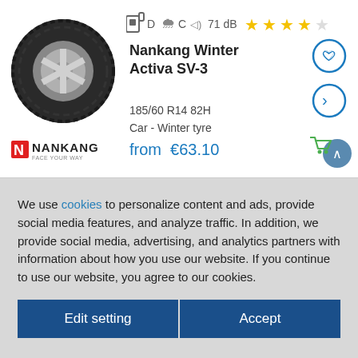[Figure (photo): Nankang winter tire product image - black tire with silver alloy wheel]
[Figure (infographic): Tire rating icons: fuel efficiency D, wet grip C, noise 71 dB, and 4 out of 5 star rating]
Nankang Winter Activa SV-3
185/60 R14 82H
Car - Winter tyre
from €63.10
[Figure (logo): Nankang brand logo with red N and text NANKANG]
We use cookies to personalize content and ads, provide social media features, and analyze traffic. In addition, we provide social media, advertising, and analytics partners with information about how you use our website. If you continue to use our website, you agree to our cookies.
Edit setting | Accept